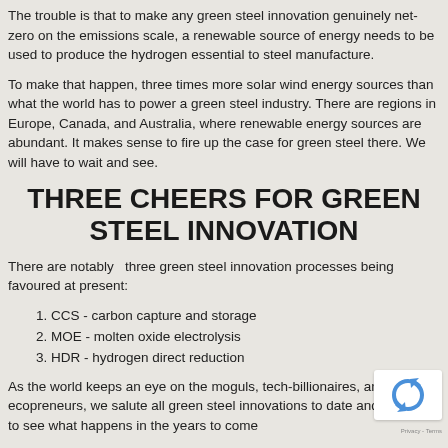The trouble is that to make any green steel innovation genuinely net-zero on the emissions scale, a renewable source of energy needs to be used to produce the hydrogen essential to steel manufacture.
To make that happen, three times more solar wind energy sources than what the world has to power a green steel industry. There are regions in Europe, Canada, and Australia, where renewable energy sources are abundant. It makes sense to fire up the case for green steel there. We will have to wait and see.
THREE CHEERS FOR GREEN STEEL INNOVATION
There are notably  three green steel innovation processes being favoured at present:
1. CCS - carbon capture and storage
2. MOE - molten oxide electrolysis
3. HDR - hydrogen direct reduction
As the world keeps an eye on the moguls, tech-billionaires, and ecopreneurs, we salute all green steel innovations to date and can't wait to see what happens in the years to come